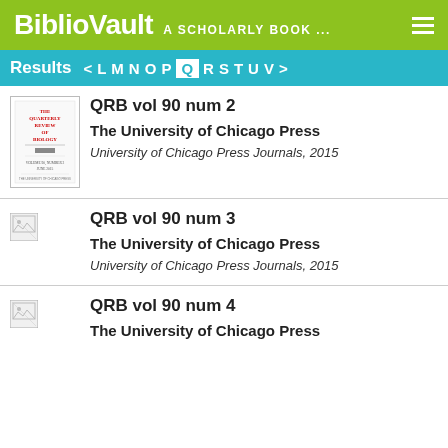BiblioVault  A SCHOLARLY BOOK ...
Results  < L M N O P Q R S T U V >
[Figure (illustration): Book cover thumbnail for The Quarterly Review of Biology]
QRB vol 90 num 2
The University of Chicago Press
University of Chicago Press Journals, 2015
[Figure (illustration): Broken image placeholder icon]
QRB vol 90 num 3
The University of Chicago Press
University of Chicago Press Journals, 2015
[Figure (illustration): Broken image placeholder icon]
QRB vol 90 num 4
The University of Chicago Press